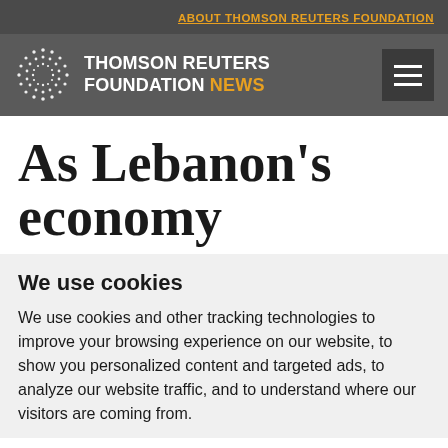ABOUT THOMSON REUTERS FOUNDATION
[Figure (logo): Thomson Reuters Foundation News logo with spiral dot graphic and hamburger menu icon on dark grey background]
As Lebanon's economy
We use cookies
We use cookies and other tracking technologies to improve your browsing experience on our website, to show you personalized content and targeted ads, to analyze our website traffic, and to understand where our visitors are coming from.